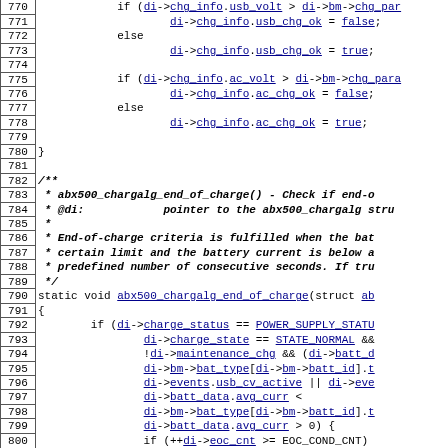Source code listing lines 770-800, C kernel driver code for abx500 charger algorithm
Lines 770-800: C source code showing USB/AC charging status checks and end-of-charge function